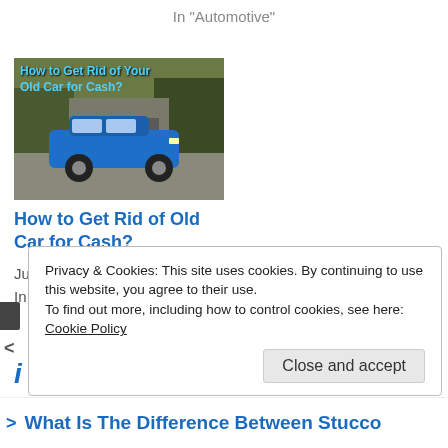In "Automotive"
[Figure (photo): Thumbnail image with blue car parked outdoors, overlaid with title text 'How to Get Rid of Your Old Car for Cash?' in blue font on dark background]
How to Get Rid of Old Car for Cash?
July 5, 2022
In "Automotive"
Privacy & Cookies: This site uses cookies. By continuing to use this website, you agree to their use.
To find out more, including how to control cookies, see here:
Cookie Policy
Close and accept
> What Is The Difference Between Stucco